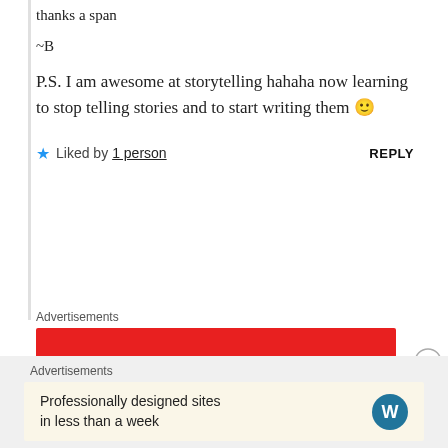thanks a span
~B
P.S. I am awesome at storytelling hahaha now learning to stop telling stories and to start writing them 🙂
★ Liked by 1 person   REPLY
Advertisements
[Figure (screenshot): Red advertisement banner for a podcast app showing a smartphone with 'Dis-trib-uted' text, headline 'An app by listeners, for listeners.' and a 'Download now' button]
Advertisements
[Figure (infographic): WordPress advertisement: 'Professionally designed sites in less than a week' with WordPress logo]